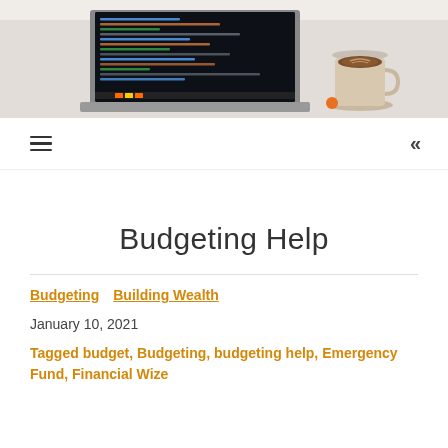[Figure (photo): Hero image showing a laptop with dark code editor screen and a latte coffee cup on a white desk]
[Figure (other): Navigation bar with hamburger menu icon on left and double left-arrow icon on right]
Budgeting Help
Budgeting   Building Wealth
January 10, 2021
Tagged budget, Budgeting, budgeting help, Emergency Fund, Financial Wize